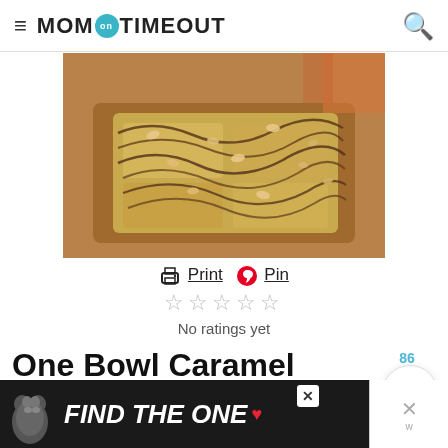MOM ON TIMEOUT
[Figure (photo): Close-up photo of caramel pumpkin blondies topped with chocolate drizzle and chopped nuts]
Print  Pin
No ratings yet
One Bowl Caramel Pumpkin Blondies
This easy, one bowl Caramel Pumpkin Blondies recipe is the perfect way to satisfy those deep
[Figure (photo): Advertisement banner: dog photo with text FIND THE ONE with heart icon]